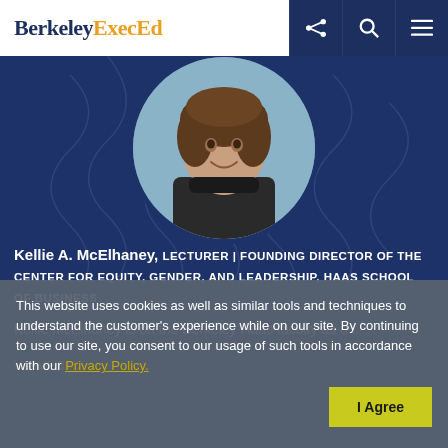Berkeley ExecEd
[Figure (photo): Circular portrait photo of Kellie A. McElhaney, a woman with shoulder-length brown hair, smiling, wearing a dark turtleneck, on a blue background]
Kellie A. McElhaney, LECTURER | FOUNDING DIRECTOR OF THE CENTER FOR EQUITY, GENDER, AND LEADERSHIP, HAAS SCHOOL OF BUSINESS
Kellie McElhaney is on the Berkeley Haas faculty as a...
VIEW BIO
This website uses cookies as well as similar tools and techniques to understand the customer's experience while on our site. By continuing to use our site, you consent to our usage of such tools in accordance with our Privacy Policy.
I Agree